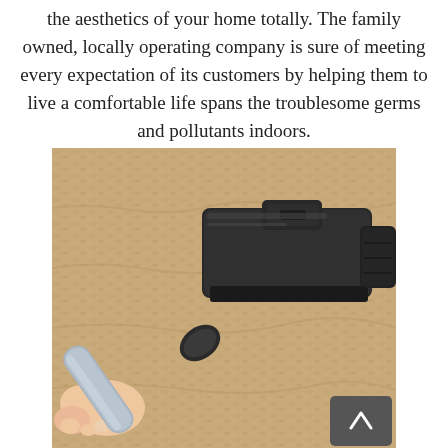the aesthetics of your home totally. The family owned, locally operating company is sure of meeting every expectation of its customers by helping them to live a comfortable life spans the troublesome germs and pollutants indoors.
[Figure (photo): A hand holding a vacuum cleaner head/brush attachment being used on a beige carpet, viewed from above at an angle. A grey back-to-top button with a caret/arrow symbol is visible in the bottom-right corner of the image.]